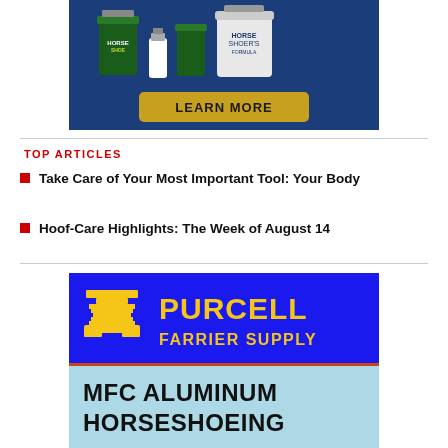[Figure (photo): Advertisement banner with horse care products (Horseshoe brand containers/buckets on blue background) with a gold 'LEARN MORE' button.]
TOP ARTICLES
Take Care of Your Most Important Tool: Your Body
Hoof-Care Highlights: The Week of August 14
[Figure (logo): Purcell Farrier Supply advertisement with yellow anvil logo on blue background, and 'MFC ALUMINUM HORSESHOEING' text on light blue background.]